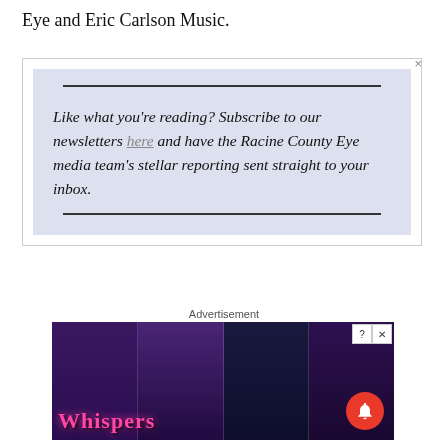Eye and Eric Carlson Music.
Like what you're reading? Subscribe to our newsletters here and have the Racine County Eye media team's stellar reporting sent straight to your inbox.
Advertisement
[Figure (photo): Advertisement banner for Whispers app showing illustrated romance novel-style characters in four panels with colorful art. The Whispers logo appears in pink at the bottom left.]